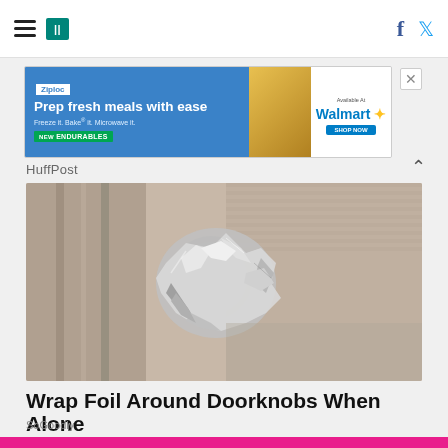HuffPost navigation with hamburger menu, HuffPost logo, Facebook and Twitter icons
[Figure (photo): Ziploc advertisement banner: 'Prep fresh meals with ease. Freeze it. Bake it. Microwave it. NEW ENDURABLES. Available At Walmart.']
HuffPost
[Figure (photo): Close-up photo of a door knob wrapped in crumpled aluminum foil]
Wrap Foil Around Doorknobs When Alone
SoGoodly